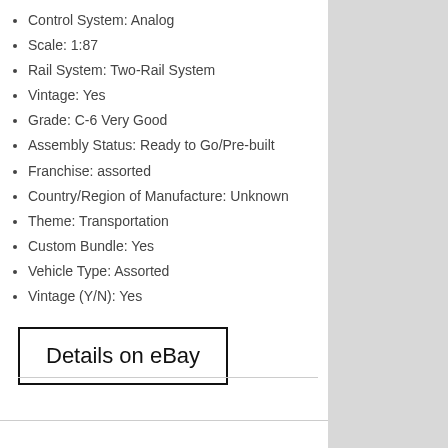Control System: Analog
Scale: 1:87
Rail System: Two-Rail System
Vintage: Yes
Grade: C-6 Very Good
Assembly Status: Ready to Go/Pre-built
Franchise: assorted
Country/Region of Manufacture: Unknown
Theme: Transportation
Custom Bundle: Yes
Vehicle Type: Assorted
Vintage (Y/N): Yes
Details on eBay
Proudly powered by WordPress. Theme: P2 Categories - fork me.